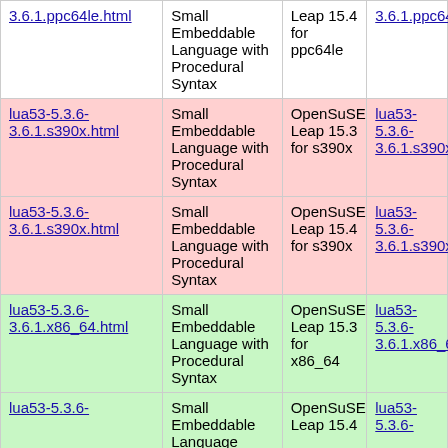| Package | Description | Distribution | RPM |
| --- | --- | --- | --- |
| lua53-5.3.6-3.6.1.ppc64le.html | Small Embeddable Language with Procedural Syntax | Leap 15.4 for ppc64le | lua53-5.3.6-3.6.1.ppc64le.r... |
| lua53-5.3.6-3.6.1.s390x.html | Small Embeddable Language with Procedural Syntax | OpenSuSE Leap 15.3 for s390x | lua53-5.3.6-3.6.1.s390x.rpm |
| lua53-5.3.6-3.6.1.s390x.html | Small Embeddable Language with Procedural Syntax | OpenSuSE Leap 15.4 for s390x | lua53-5.3.6-3.6.1.s390x.rpm |
| lua53-5.3.6-3.6.1.x86_64.html | Small Embeddable Language with Procedural Syntax | OpenSuSE Leap 15.3 for x86_64 | lua53-5.3.6-3.6.1.x86_64.r... |
| lua53-5.3.6- | Small Embeddable Language | OpenSuSE Leap 15.4 | lua53-5.3.6- |